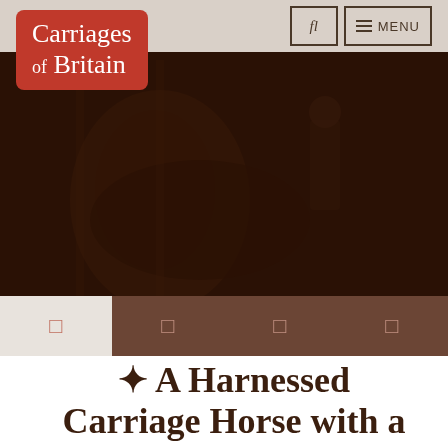Carriages of Britain
[Figure (photo): Sepia-toned photograph of a harnessed carriage horse with a groom in a stable, used as hero banner image with dark overlay]
[Figure (infographic): Navigation icon bar with four icon buttons: first on light beige background, three on dark brown background]
❧ A Harnessed Carriage Horse with a Groom in a Stable